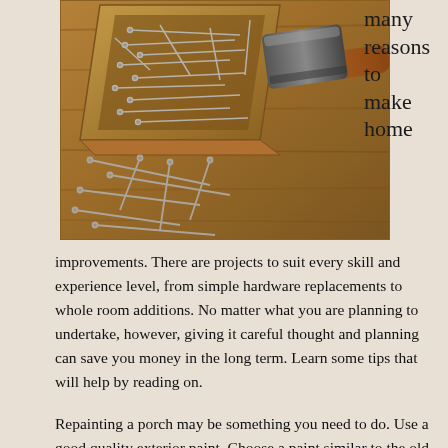[Figure (photo): Photo of scattered nails/screws on a wooden surface with a hammer, workshop tools background.]
many reasons to make home
improvements. There are projects to suit every skill and experience level, from simple hardware replacements to whole room additions. No matter what you are planning to undertake, however, giving it careful thought and planning can save you money in the long term. Learn some tips that will help by reading on.
Repainting a porch may be something you need to do. Use a good quality exterior paint. Choose a paint similar to the old one; do not apply an oil-based paint over a water based-one or the other way around. Oil based paint is right for trim but not right for a deck because it is too slick in wet conditions.